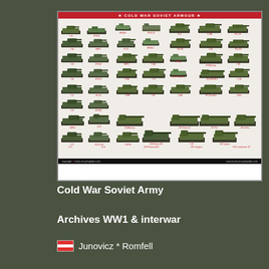[Figure (illustration): Poster titled 'Cold War Soviet Armour' showing side-view illustrations of numerous Soviet Cold War era tanks and armored vehicles arranged in a grid. Red header bar at top with title text. Black footer with copyright and website info. White background with ~36 vehicle illustrations in olive/green color scheme with small red label text under each.]
Cold War Soviet Army
Archives WW1 & interwar
Junovicz * Romfell